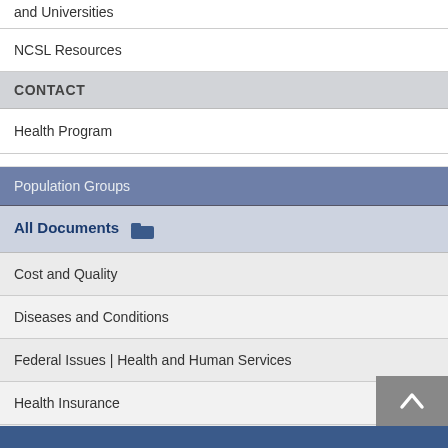and Universities
NCSL Resources
CONTACT
Health Program
Population Groups
All Documents
Cost and Quality
Diseases and Conditions
Federal Issues | Health and Human Services
Health Insurance
Medicaid and CHIP